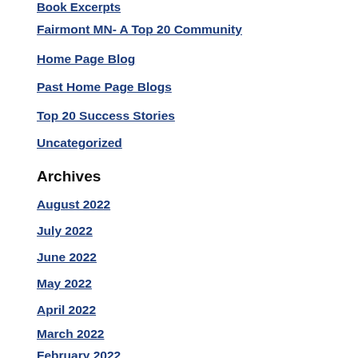Book Excerpts
Fairmont MN- A Top 20 Community
Home Page Blog
Past Home Page Blogs
Top 20 Success Stories
Uncategorized
Archives
August 2022
July 2022
June 2022
May 2022
April 2022
March 2022
February 2022